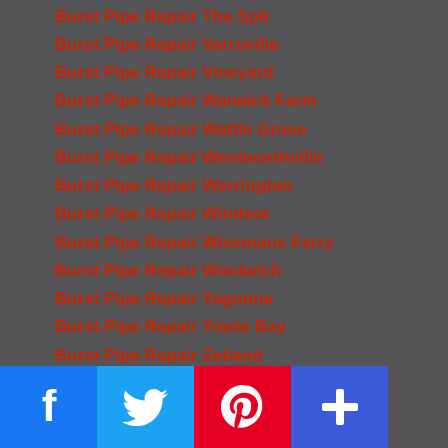Burst Pipe Repair The Spit
Burst Pipe Repair Varroville
Burst Pipe Repair Vineyard
Burst Pipe Repair Warwick Farm
Burst Pipe Repair Wattle Grove
Burst Pipe Repair Wentworthville
Burst Pipe Repair Werrington
Burst Pipe Repair Windsor
Burst Pipe Repair Wisemans Ferry
Burst Pipe Repair Woolwich
Burst Pipe Repair Yagoona
Burst Pipe Repair Yowie Bay
Burst Pipe Repair Zetland
Burst Pipe Repairs Beaumont Hills
Burst Pipe Repairs Bonnyrigg
Burst Pipe Repairs Cabramatta
Burst Pipe Repairs Canley Heights
Burst Pipe Repairs Canley Vale
Burst Pipe Repairs Chatswood